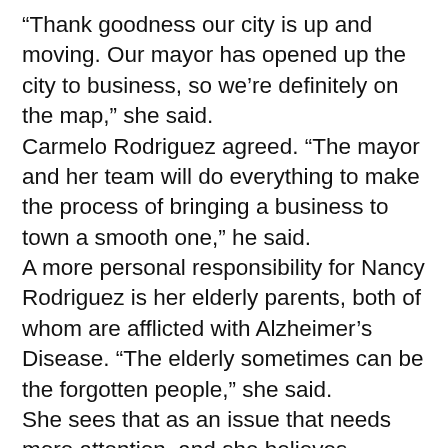“Thank goodness our city is up and moving. Our mayor has opened up the city to business, so we’re definitely on the map,” she said.
Carmelo Rodriguez agreed. “The mayor and her team will do everything to make the process of bringing a business to town a smooth one,” he said.
A more personal responsibility for Nancy Rodriguez is her elderly parents, both of whom are afflicted with Alzheimer’s Disease. “The elderly sometimes can be the forgotten people,” she said.
She sees that as an issue that needs more attention, and she believes churches such as theirs need to be more present in convalescent homes and other places where persons struggling with dementia live, and try to make a difference in their lives.
Carmelo Rodriguez has similar concerns for many of the men he used to guard in the state’s prisons.
When he started, being a corrections officer was what he did to support his family, but over time he became more